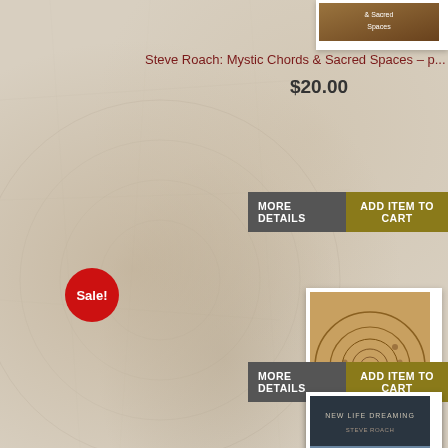[Figure (photo): Partial view of a CD/album cover at top right corner]
Steve Roach: Mystic Chords & Sacred Spaces – p...
$20.00
MORE DETAILS
ADD ITEM TO CART
Sale!
[Figure (photo): CD album with spiral shell artwork cover - Steve Roach Mystic Chords & Sacred Spaces 4-CD complete edition]
Steve Roach: Mystic Chords & Sacred Spaces (4-CD complete e...
$49.00 $30.00
MORE DETAILS
ADD ITEM TO CART
[Figure (photo): New Life Dreaming - Steve Roach album cover showing landscape]